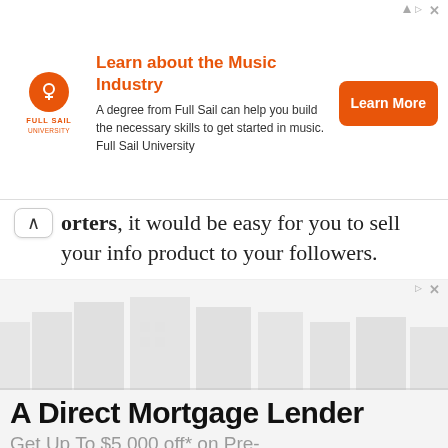[Figure (infographic): Advertisement banner for Full Sail University - Learn about the Music Industry. Orange logo circle with white arrow icon, Full Sail University text, description text, and orange Learn More button.]
orters, it would be easy for you to sell your info product to your followers.
[Figure (infographic): Advertisement for A Direct Mortgage Lender. Faint building/city silhouette background image in light gray. Text: A Direct Mortgage Lender. Get Up To $5,000 off* on Pre-]